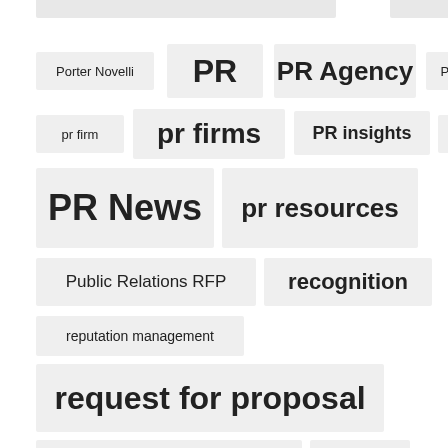[Figure (infographic): Tag cloud showing PR and public relations related keywords in varying font sizes indicating frequency/importance. Tags include: Porter Novelli, PR, PR Agency, PR Campaign, pr firm, pr firms, PR insights, PR leaders, PR News, pr resources, Public Relations RFP, recognition, reputation management, request for proposal, Request of proposal, RFP, ronn torossian, scandal, seo, social media]